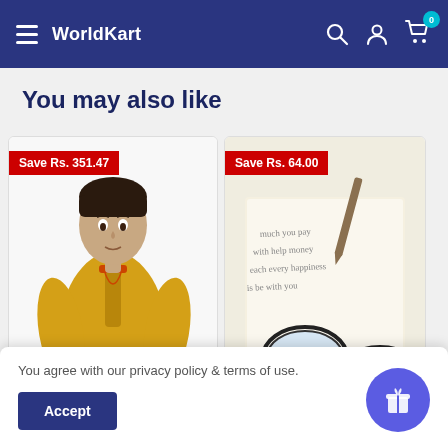WorldKart
You may also like
[Figure (photo): Product card showing a man wearing a golden yellow kurta with a Save Rs. 351.47 badge]
[Figure (photo): Product card showing glasses resting on an open book with a Save Rs. 64.00 badge]
You agree with our privacy policy & terms of use.
Accept